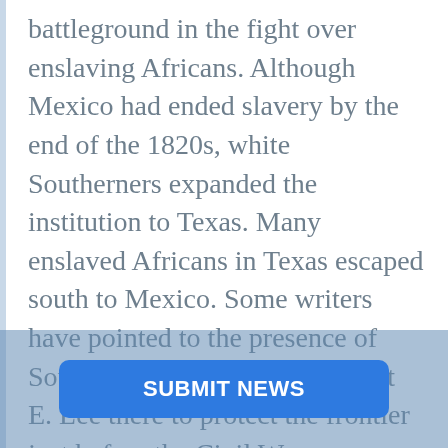battleground in the fight over enslaving Africans. Although Mexico had ended slavery by the end of the 1820s, white Southerners expanded the institution to Texas. Many enslaved Africans in Texas escaped south to Mexico. Some writers have pointed to the presence of Southern soldiers such as Robert E. Lee there to protect the frontier just before the Civil War.

Emancipation was powerful, and in Texas emancipation had taken on a very special mea[ning... Marquette Mishaps: Dissertation of the...
[Figure (screenshot): A blue 'SUBMIT NEWS' button overlay at the bottom of the page, partially obscuring the text]